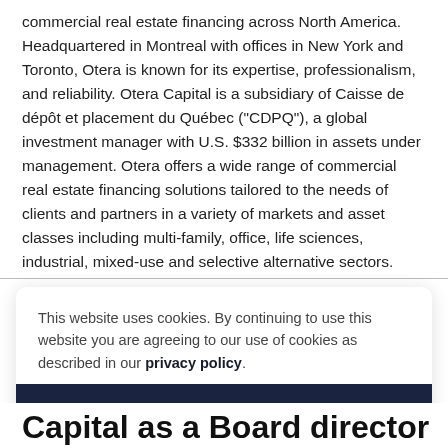commercial real estate financing across North America. Headquartered in Montreal with offices in New York and Toronto, Otera is known for its expertise, professionalism, and reliability. Otera Capital is a subsidiary of Caisse de dépôt et placement du Québec ("CDPQ"), a global investment manager with U.S. $332 billion in assets under management. Otera offers a wide range of commercial real estate financing solutions tailored to the needs of clients and partners in a variety of markets and asset classes including multi-family, office, life sciences, industrial, mixed-use and selective alternative sectors.
This website uses cookies. By continuing to use this website you are agreeing to our use of cookies as described in our privacy policy.
Accept
Capital as a Board director